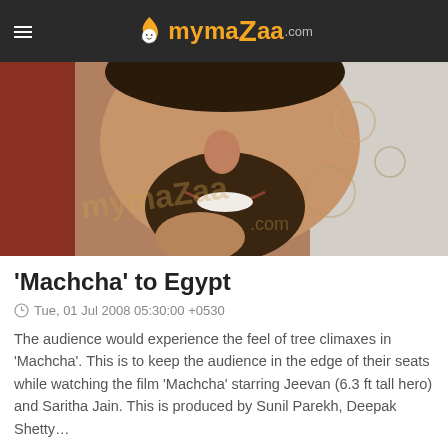mymazaa.com
[Figure (photo): Close-up photo of a young Indian man with a beard, smiling, wearing a floral/printed shirt, with a watermark overlay]
'Machcha' to Egypt
Tue, 01 Jul 2008 05:30:00 +0530
The audience would experience the feel of tree climaxes in 'Machcha'. This is to keep the audience in the edge of their seats while watching the film 'Machcha' starring Jeevan (6.3 ft tall hero) and Saritha Jain. This is produced by Sunil Parekh, Deepak Shetty…
[Figure (photo): Partial view of another photo at the bottom of the page, showing a person's face/hair, cropped]